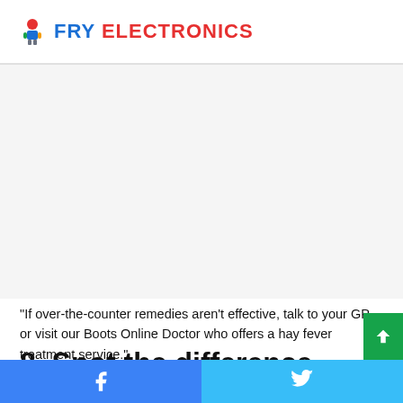FRY ELECTRONICS
[Figure (other): Advertisement/blank area below site header]
“If over-the-counter remedies aren’t effective, talk to your GP or visit our Boots Online Doctor who offers a hay fever treatment service.”
8. Spot the difference